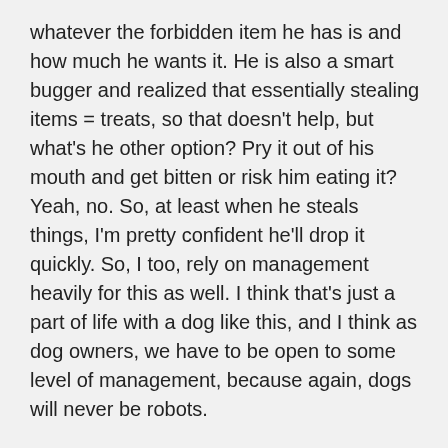whatever the forbidden item he has is and how much he wants it. He is also a smart bugger and realized that essentially stealing items = treats, so that doesn't help, but what's he other option? Pry it out of his mouth and get bitten or risk him eating it? Yeah, no. So, at least when he steals things, I'm pretty confident he'll drop it quickly. So, I too, rely on management heavily for this as well. I think that's just a part of life with a dog like this, and I think as dog owners, we have to be open to some level of management, because again, dogs will never be robots.
This was a fantastic post! I love learning about Luke's spunky-ness 🙂
Reply